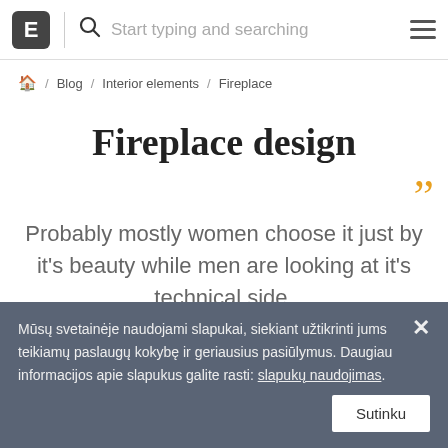E | Start typing and searching
🏠 / Blog / Interior elements / Fireplace
Fireplace design
Probably mostly women choose it just by it's beauty while men are looking at it's technical side.
Mūsų svetainėje naudojami slapukai, siekiant užtikrinti jums teikiamų paslaugų kokybę ir geriausius pasiūlymus. Daugiau informacijos apie slapukus galite rasti: slapukų naudojimas. Sutinku